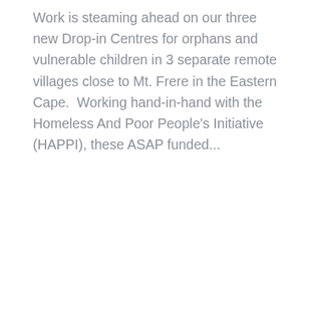Work is steaming ahead on our three new Drop-in Centres for orphans and vulnerable children in 3 separate remote villages close to Mt. Frere in the Eastern Cape.  Working hand-in-hand with the Homeless And Poor People's Initiative (HAPPI), these ASAP funded...